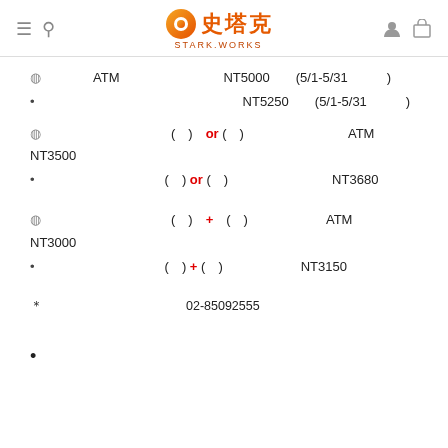史塔克 STARK.WORKS
◎□□□□ATM□□□□□□　　　NT5000□　(5/1-5/31□□□)
●　□□□□□　　　　　　　　NT5250□　(5/1-5/31□□□)
◎□□□□□□□□□□(□)　or (□)□□□□　　□□ATM□□□□□NT3500□
●　□□□□□□□□□□(□) or (□)□□□□　　□□□NT3680□
◎□□□□□□□□□□(□)　+　(□)　　□□ATM□□□□□NT3000□
●　□□□□□□□□□□(□) + (□)　　□□□NT3150□
※□□□□□□□□□□□□02-85092555□□□
● □□□□